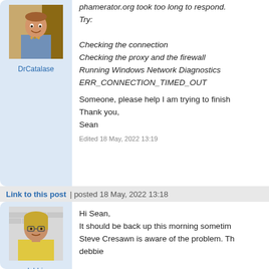[Figure (photo): Avatar photo of DrCatalase - a man in a blue shirt with bow tie]
DrCatalase
phamerator.org took too long to respond. Try:

Checking the connection
Checking the proxy and the firewall
Running Windows Network Diagnostics
ERR_CONNECTION_TIMED_OUT

Someone, please help I am trying to finish
Thank you,
Sean
Edited 18 May, 2022 13:19
Link to this post | posted 18 May, 2022 13:18
[Figure (photo): Avatar photo of debbie - a woman with glasses and blonde hair]
debbie
Hi Sean,
It should be back up this morning sometim
Steve Cresawn is aware of the problem. Th
debbie